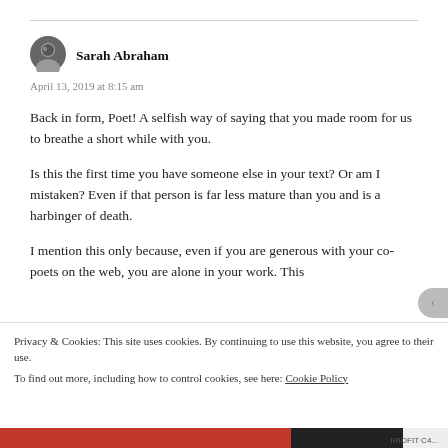[Figure (photo): Small circular avatar photo of Sarah Abraham, dark/monochrome profile picture]
Sarah Abraham
April 13, 2019 at 8:15 am
Back in form, Poet! A selfish way of saying that you made room for us to breathe a short while with you.
Is this the first time you have someone else in your text? Or am I mistaken? Even if that person is far less mature than you and is a harbinger of death.
I mention this only because, even if you are generous with your co-poets on the web, you are alone in your work. This
Privacy & Cookies: This site uses cookies. By continuing to use this website, you agree to their use.
To find out more, including how to control cookies, see here: Cookie Policy
Close and accept